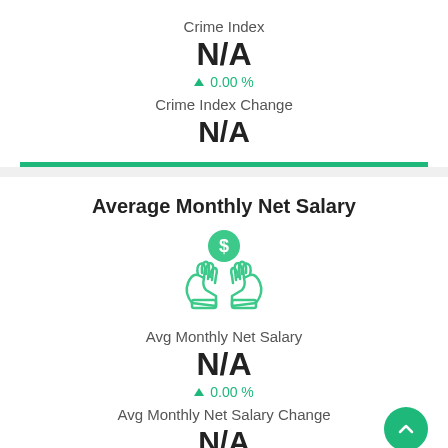Crime Index
N/A
▲ 0.00 %
Crime Index Change
N/A
Average Monthly Net Salary
[Figure (illustration): Hands holding a dollar coin icon in teal/green outline style]
Avg Monthly Net Salary
N/A
▲ 0.00 %
Avg Monthly Net Salary Change
N/A